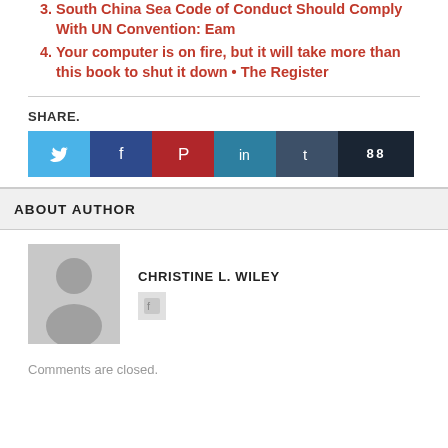3. South China Sea Code of Conduct Should Comply With UN Convention: Eam
4. Your computer is on fire, but it will take more than this book to shut it down • The Register
SHARE.
[Figure (other): Social share buttons: Twitter (light blue), Facebook (dark blue), Pinterest (red), LinkedIn (teal), Tumblr (slate), share count 88 (dark navy)]
ABOUT AUTHOR
[Figure (photo): Grey placeholder avatar image with person silhouette for author Christine L. Wiley]
CHRISTINE L. WILEY
Comments are closed.